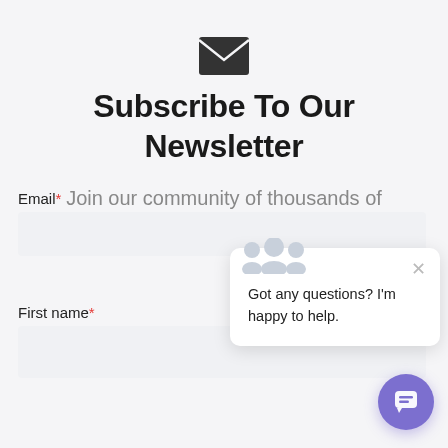[Figure (illustration): Envelope/mail icon, dark gray, centered at top of page]
Subscribe To Our Newsletter
Join our community of thousands of readers.
Email*
First name*
[Figure (illustration): Chat popup widget with group of people icons, close button (x), and text: Got any questions? I'm happy to help.]
[Figure (illustration): Purple circular chat button with speech bubble icon, bottom right corner]